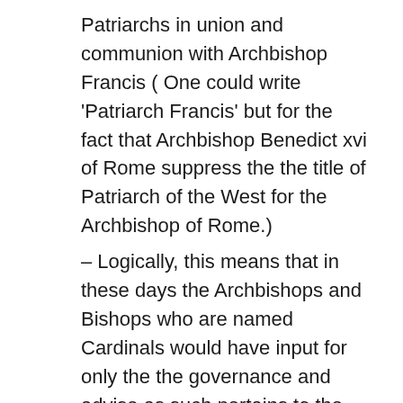Patriarchs in union and communion with Archbishop Francis ( One could write 'Patriarch Francis' but for the fact that Archbishop Benedict xvi of Rome suppress the the title of Patriarch of the West for the Archbishop of Rome.)
– Logically, this means that in these days the Archbishops and Bishops who are named Cardinals would have input for only the the governance and advise as such pertains to the church of rome. Perhaps, the honorific of Cardinal should be suppress. After all how is it that an Archbishop Metropolitan,or Primate is not qualified to advise the Archbishop of Rome about those things that apply to the Church at Rome.
– By identifying regional or ethnic churches that need to be patriarchate one suppresses the Holy See's thrust to romanize the catholic church as evidence by the effects of the work of Vox Clara and the work of those